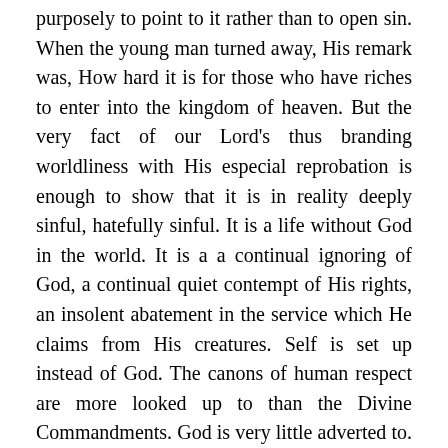purposely to point to it rather than to open sin. When the young man turned away, His remark was, How hard it is for those who have riches to enter into the kingdom of heaven. But the very fact of our Lord's thus branding worldliness with His especial reprobation is enough to show that it is in reality deeply sinful, hatefully sinful. It is a life without God in the world. It is a a continual ignoring of God, a continual quiet contempt of His rights, an insolent abatement in the service which He claims from His creatures. Self is set up instead of God. The canons of human respect are more looked up to than the Divine Commandments. God is very little adverted to. He is passed over. The very